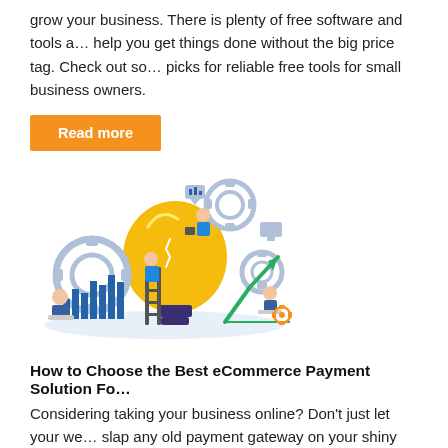grow your business. There is plenty of free software and tools a… help you get things done without the big price tag. Check out so… picks for reliable free tools for small business owners.
Read more
[Figure (illustration): Business illustration showing people working around a large light bulb with gears, charts, and a rising arrow, representing business growth and innovation.]
How to Choose the Best eCommerce Payment Solution Fo…
Considering taking your business online? Don't just let your we… slap any old payment gateway on your shiny new website. Mak… for your business! Here's our guide to what to consider when yo… an eCommerce payment solution.
Read more